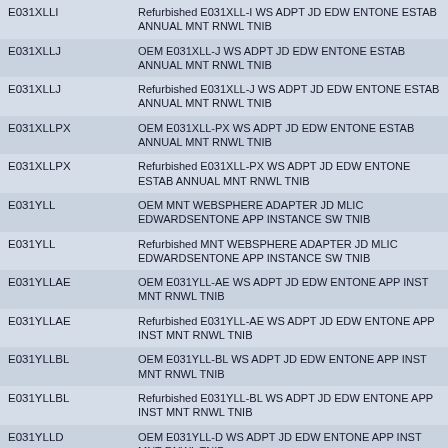| Code | Description |
| --- | --- |
| E031XLLI | Refurbished E031XLL-I WS ADPT JD EDW ENTONE ESTAB ANNUAL MNT RNWL TNIB |
| E031XLLJ | OEM E031XLL-J WS ADPT JD EDW ENTONE ESTAB ANNUAL MNT RNWL TNIB |
| E031XLLJ | Refurbished E031XLL-J WS ADPT JD EDW ENTONE ESTAB ANNUAL MNT RNWL TNIB |
| E031XLLPX | OEM E031XLL-PX WS ADPT JD EDW ENTONE ESTAB ANNUAL MNT RNWL TNIB |
| E031XLLPX | Refurbished E031XLL-PX WS ADPT JD EDW ENTONE ESTAB ANNUAL MNT RNWL TNIB |
| E031YLL | OEM MNT WEBSPHERE ADAPTER JD MLIC EDWARDSENTONE APP INSTANCE SW TNIB |
| E031YLL | Refurbished MNT WEBSPHERE ADAPTER JD MLIC EDWARDSENTONE APP INSTANCE SW TNIB |
| E031YLLAE | OEM E031YLL-AE WS ADPT JD EDW ENTONE APP INST MNT RNWL TNIB |
| E031YLLAE | Refurbished E031YLL-AE WS ADPT JD EDW ENTONE APP INST MNT RNWL TNIB |
| E031YLLBL | OEM E031YLL-BL WS ADPT JD EDW ENTONE APP INST MNT RNWL TNIB |
| E031YLLBL | Refurbished E031YLL-BL WS ADPT JD EDW ENTONE APP INST MNT RNWL TNIB |
| E031YLLD | OEM E031YLL-D WS ADPT JD EDW ENTONE APP INST MNT RNWL TNIB |
| E031YLLD | Refurbished E031YLL-D WS ADPT JD EDW ENTONE APP INST MNT RNWL TNIB |
| E031YLLE | OEM E031YLL-E WS ADPT JD EDW ENTONE APP INST MNT RNWL TNIB |
| E031YLLE | Refurbished E031YLL-E WS ADPT JD EDW ENTONE APP INST MNT RNWL TNIB |
| E031YLLE7 | OEM E031YLL-E7 WEBSPHERE ADAPTER JD EDWARDS MLIC ENTONE APPLICATION INSTANCE SW TNIB |
| E031YLLE7 | Refurbished E031YLL-E7 WEBSPHERE ADAPTER JD |